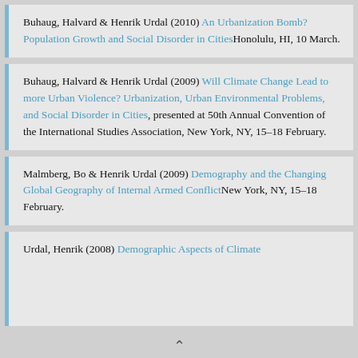Buhaug, Halvard & Henrik Urdal (2010) An Urbanization Bomb? Population Growth and Social Disorder in Cities. Honolulu, HI, 10 March.
Buhaug, Halvard & Henrik Urdal (2009) Will Climate Change Lead to more Urban Violence? Urbanization, Urban Environmental Problems, and Social Disorder in Cities, presented at 50th Annual Convention of the International Studies Association, New York, NY, 15–18 February.
Malmberg, Bo & Henrik Urdal (2009) Demography and the Changing Global Geography of Internal Armed Conflict. New York, NY, 15–18 February.
Urdal, Henrik (2008) Demographic Aspects of Climate…